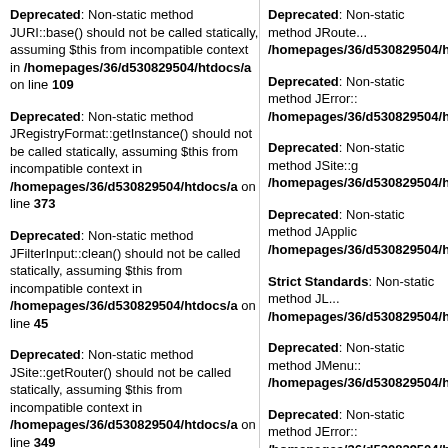Deprecated: Non-static method JURI::base() should not be called statically, assuming $this from incompatible context in /homepages/36/d530829504/htdocs/a on line 109
Deprecated: Non-static method JRegistryFormat::getInstance() should not be called statically, assuming $this from incompatible context in /homepages/36/d530829504/htdocs/a on line 373
Deprecated: Non-static method JFilterInput::clean() should not be called statically, assuming $this from incompatible context in /homepages/36/d530829504/htdocs/a on line 45
Deprecated: Non-static method JSite::getRouter() should not be called statically, assuming $this from incompatible context in /homepages/36/d530829504/htdocs/a on line 349
Deprecated: Non-static method JRoute... /homepages/36/d530829504/htdocs/a
Deprecated: Non-static method JError:: /homepages/36/d530829504/htdocs/a
Deprecated: Non-static method JSite::g /homepages/36/d530829504/htdocs/a
Deprecated: Non-static method JApplic /homepages/36/d530829504/htdocs/a
Strict Standards: Non-static method JL /homepages/36/d530829504/htdocs/a
Deprecated: Non-static method JMenu:: /homepages/36/d530829504/htdocs/a
Deprecated: Non-static method JError:: /homepages/36/d530829504/htdocs/a
Deprecated: Non-static method JFactor in /homepages/36/d530829504/htdocs
Deprecated: Non-static method JSite::g /homepages/36/d530829504/htdocs/a
Deprecated: Non-static method JApplic /homepages/36/d530829504/htdocs/a